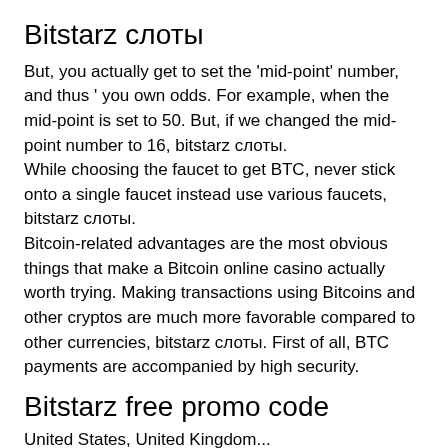Bitstarz слоты
But, you actually get to set the 'mid-point' number, and thus ' you own odds. For example, when the mid-point is set to 50. But, if we changed the mid-point number to 16, bitstarz слоты.
While choosing the faucet to get BTC, never stick onto a single faucet instead use various faucets, bitstarz слоты.
Bitcoin-related advantages are the most obvious things that make a Bitcoin online casino actually worth trying. Making transactions using Bitcoins and other cryptos are much more favorable compared to other currencies, bitstarz слоты. First of all, BTC payments are accompanied by high security.
Bitstarz free promo code
United States, United Kingdom...